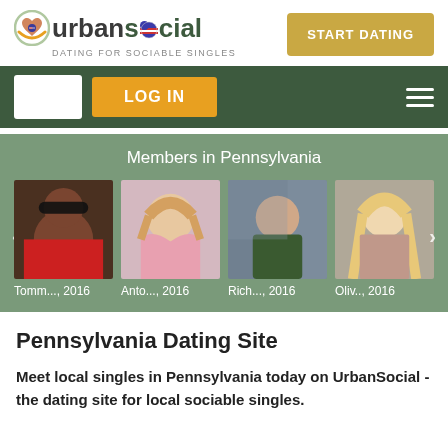[Figure (logo): UrbanSocial logo with heart icon and US flag dot in the 'o', tagline: DATING FOR SOCIABLE SINGLES]
[Figure (screenshot): START DATING button in gold/tan color]
[Figure (screenshot): Navigation bar with white placeholder box, orange LOG IN button, and hamburger menu on dark green background]
Members in Pennsylvania
[Figure (photo): Photo of Tomm..., 2016 - man with sunglasses]
[Figure (photo): Photo of Anto..., 2016 - woman]
[Figure (photo): Photo of Rich..., 2016 - man smiling]
[Figure (photo): Photo of Oliv.., 2016 - blonde woman]
Pennsylvania Dating Site
Meet local singles in Pennsylvania today on UrbanSocial - the dating site for local sociable singles.